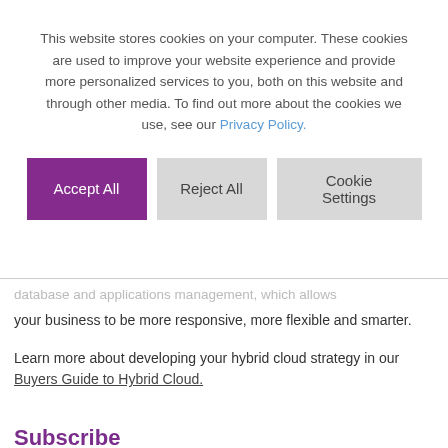This website stores cookies on your computer. These cookies are used to improve your website experience and provide more personalized services to you, both on this website and through other media. To find out more about the cookies we use, see our Privacy Policy.
[Figure (other): Cookie consent dialog with three buttons: Accept All (purple), Reject All (gray), Cookie Settings (gray)]
...database and applications management, which allows your business to be more responsive, more flexible and smarter.
Learn more about developing your hybrid cloud strategy in our Buyers Guide to Hybrid Cloud.
Subscribe
Email*